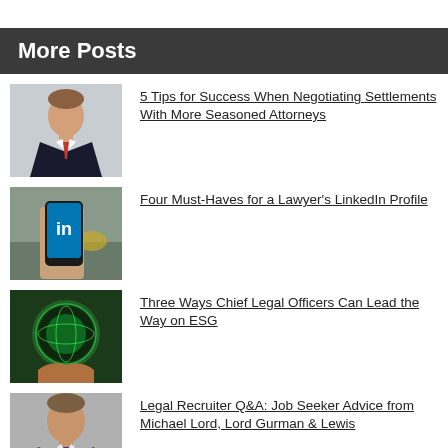More Posts
[Figure (photo): Professional headshot of a young man in a dark suit and red tie]
5 Tips for Success When Negotiating Settlements With More Seasoned Attorneys
[Figure (photo): Hand holding a smartphone with LinkedIn app open on a desk]
Four Must-Haves for a Lawyer's LinkedIn Profile
[Figure (photo): Hands holding a glowing green transparent globe]
Three Ways Chief Legal Officers Can Lead the Way on ESG
[Figure (photo): Professional headshot of a middle-aged man in a suit]
Legal Recruiter Q&A: Job Seeker Advice from Michael Lord, Lord Gurman & Lewis